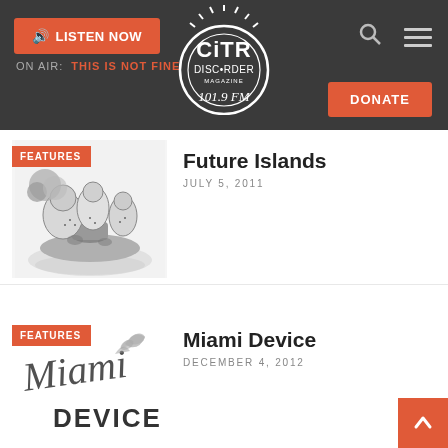CiTR Discorder 101.9 FM — LISTEN NOW | ON AIR: THIS IS NOT FINE | DONATE
[Figure (logo): CiTR Discorder 101.9 FM circular logo in white on dark background]
[Figure (illustration): Black and white pen illustration of surreal mushroom-like figures on an island — Future Islands album art]
Future Islands
JULY 5, 2011
[Figure (illustration): Hand-lettered black and white illustration reading Miami Device]
Miami Device
DECEMBER 4, 2012